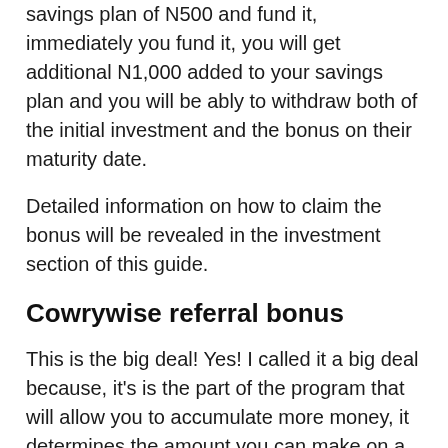savings plan of N500 and fund it, immediately you fund it, you will get additional N1,000 added to your savings plan and you will be ably to withdraw both of the initial investment and the bonus on their maturity date.
Detailed information on how to claim the bonus will be revealed in the investment section of this guide.
Cowrywise referral bonus
This is the big deal! Yes! I called it a big deal because, it's is the part of the program that will allow you to accumulate more money, it determines the amount you can make on a daily basis and on the long run. The more you take it serious, the more money you will be making per day/week.
Once you refer someone to the platform and this person creates an account and fund it, you will get N1,000 b